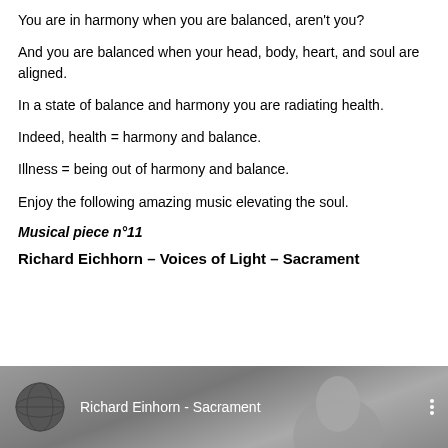You are in harmony when you are balanced, aren't you?
And you are balanced when your head, body, heart, and soul are aligned.
In a state of balance and harmony you are radiating health.
Indeed, health = harmony and balance.
Illness = being out of harmony and balance.
Enjoy the following amazing music elevating the soul.
Musical piece n°11
Richard Eichhorn – Voices of Light – Sacrament
[Figure (screenshot): Video thumbnail showing a globe icon on the left, the text 'Richard Einhorn - Sacrament' in white on a gray background, a three-dot menu icon on the right, and a partial face/person silhouette in the lower right area.]